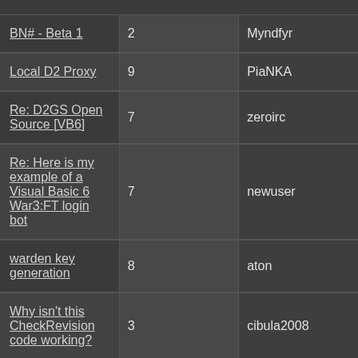| Topic | Replies | Author |
| --- | --- | --- |
| BN# - Beta 1 | 2 | Myndfyr |
| Local D2 Proxy | 9 | PiaNKA |
| Re: D2GS Open Source [VB6] | 7 | zeroirc |
| Re: Here is my example of a Visual Basic 6 War3:FT login bot | 7 | newuser |
| warden key generation | 8 | aton |
| Why isn't this CheckRevision code working? | 3 | cibula2008 |
| Diablo II Checkrevision | 4 | BreW |
| invalid game version - log included | 9 | aton |